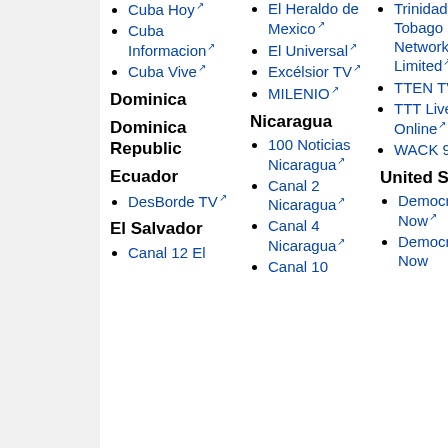Cuba Hoy
Cuba Informacion
Cuba Vive
Dominica
Dominican Republic
Ecuador
DesBorde TV
El Salvador
Canal 12 El
El Heraldo de Mexico
El Universal
Excélsior TV
MILENIO
Nicaragua
100 Noticias Nicaragua
Canal 2 Nicaragua
Canal 4 Nicaragua
Canal 10
Trinidad & Tobago Radio Network Limited
TTEN TV
TTT Live Online
WACK 90.1fm
United States
Democracy Now
Democracy Now